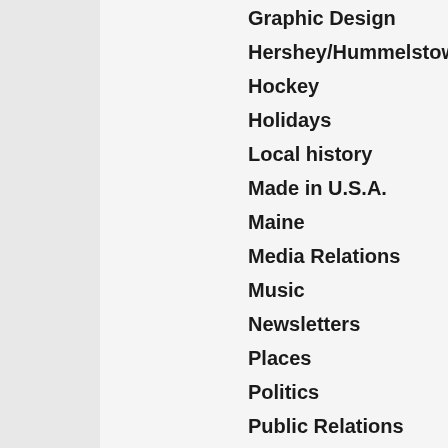Graphic Design
Hershey/Hummelstown
Hockey
Holidays
Local history
Made in U.S.A.
Maine
Media Relations
Music
Newsletters
Places
Politics
Public Relations
Special Events